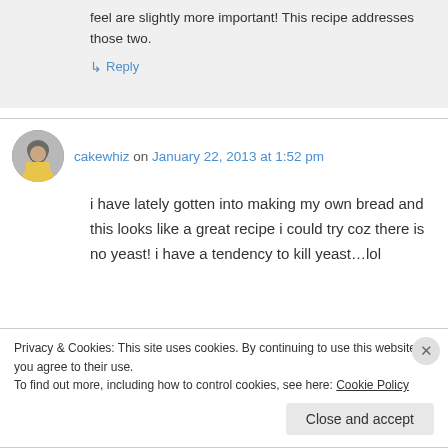feel are slightly more important! This recipe addresses those two.
↳ Reply
cakewhiz on January 22, 2013 at 1:52 pm
i have lately gotten into making my own bread and this looks like a great recipe i could try coz there is no yeast! i have a tendency to kill yeast...lol
Privacy & Cookies: This site uses cookies. By continuing to use this website, you agree to their use.
To find out more, including how to control cookies, see here: Cookie Policy
Close and accept